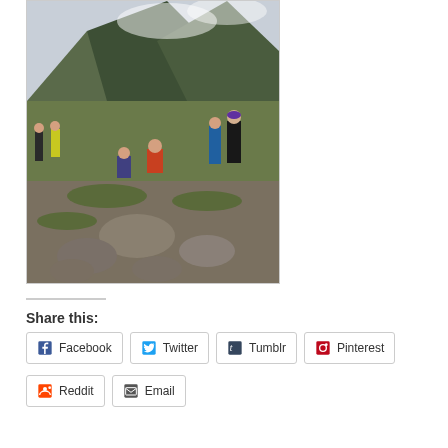[Figure (photo): Group of hikers resting on a rocky mountain summit with green slopes and misty mountain peaks in the background.]
Share this:
Facebook
Twitter
Tumblr
Pinterest
Reddit
Email